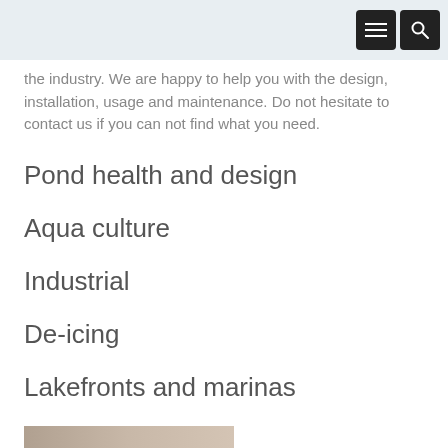[Navigation bar with menu and search icons]
the industry. We are happy to help you with the design, installation, usage and maintenance. Do not hesitate to contact us if you can not find what you need.
Pond health and design
Aqua culture
Industrial
De-icing
Lakefronts and marinas
[Figure (photo): Partial view of a photo strip at the bottom of the page, appears to show a person, cropped]